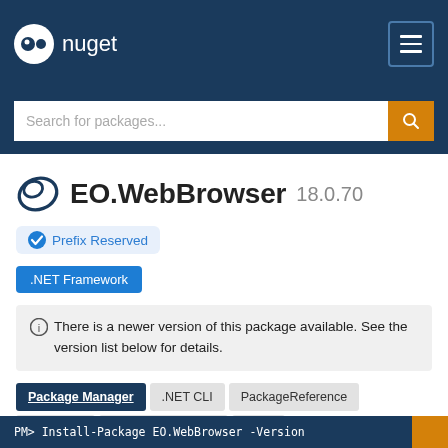nuget
Search for packages...
EO.WebBrowser 18.0.70
Prefix Reserved
.NET Framework
ⓘ There is a newer version of this package available. See the version list below for details.
Package Manager  .NET CLI  PackageReference  Paket CLI  Script & Interactive  Cake
PM> Install-Package EO.WebBrowser -Version